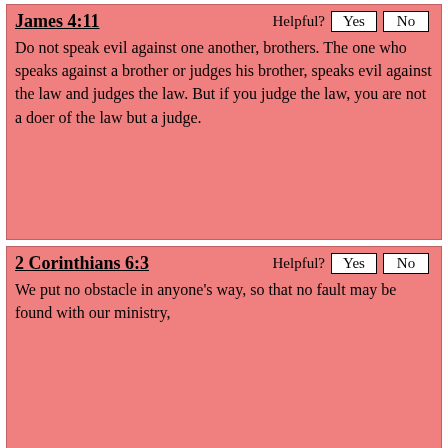James 4:11
Do not speak evil against one another, brothers. The one who speaks against a brother or judges his brother, speaks evil against the law and judges the law. But if you judge the law, you are not a doer of the law but a judge.
2 Corinthians 6:3
We put no obstacle in anyone's way, so that no fault may be found with our ministry,
Luke 12:57